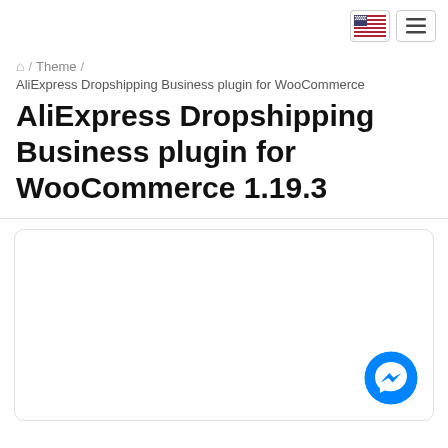[US flag icon] [hamburger menu button]
🏠 / Theme / AliExpress Dropshipping Business plugin for WooCommerce
AliExpress Dropshipping Business plugin for WooCommerce 1.19.3
[Figure (other): White card area with a blue Messenger chat button icon in the bottom right corner]